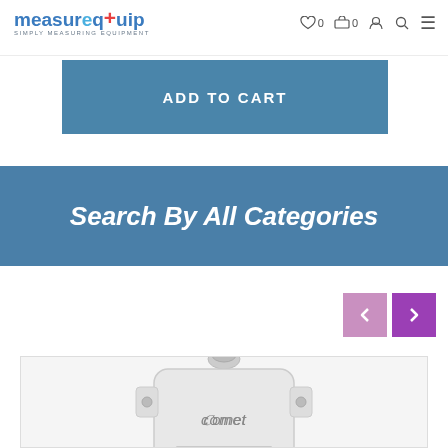MeasureQuip — Simply Measuring Equipment | Wishlist 0 | Cart 0 | Login | Search | Menu
ADD TO CART
Search By All Categories
[Figure (photo): A Comet brand environmental sensor/transmitter device — white rectangular enclosure with rounded corners, cable gland on top, mounting tabs with screws on sides, LCD display visible at bottom, branded with 'Comet' logo in center.]